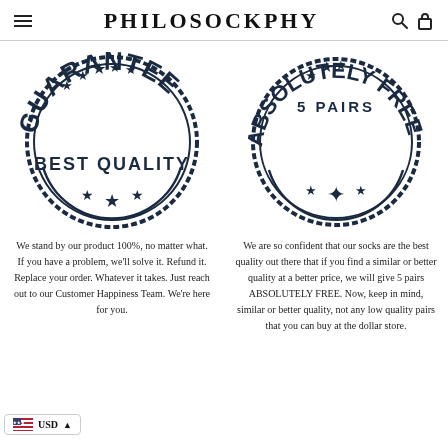PHILOSOCKPHY
[Figure (illustration): Circular rubber stamp reading GUARANTEE BEST QUALITY with stars]
[Figure (illustration): Circular rubber stamp reading 5 PAIRS ABSOLUTELY FREE with stars]
We stand by our product 100%, no matter what. If you have a problem, we'll solve it. Refund it. Replace your order. Whatever it takes. Just reach out to our Customer Happiness Team. We're here for you.
We are so confident that our socks are the best quality out there that if you find a similar or better quality at a better price, we will give 5 pairs ABSOLUTELY FREE. Now, keep in mind, similar or better quality, not any low quality pairs that you can buy at the dollar store.